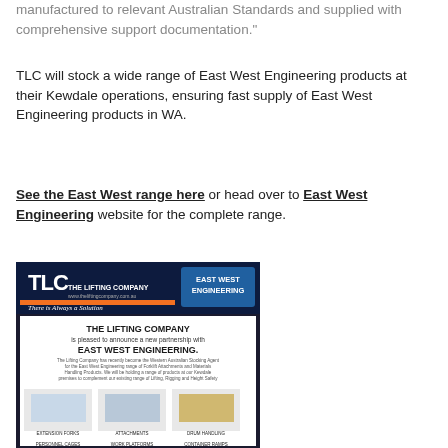manufactured to relevant Australian Standards and supplied with comprehensive support documentation."
TLC will stock a wide range of East West Engineering products at their Kewdale operations, ensuring fast supply of East West Engineering products in WA.
See the East West range here or head over to East West Engineering website for the complete range.
[Figure (screenshot): Screenshot of a promotional flyer showing The Lifting Company and East West Engineering partnership announcement, with product images including extension forks, attachments, drum handling, personnel cages, work platforms, and container ramps.]